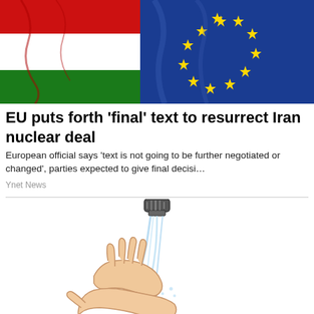[Figure (photo): Photograph showing red and blue flags — appears to be Iran and EU flags side by side]
EU puts forth 'final' text to resurrect Iran nuclear deal
European official says 'text is not going to be further negotiated or changed', parties expected to give final decisi…
Ynet News
[Figure (illustration): Cartoon illustration of hands washing under running water from a faucet/tap]